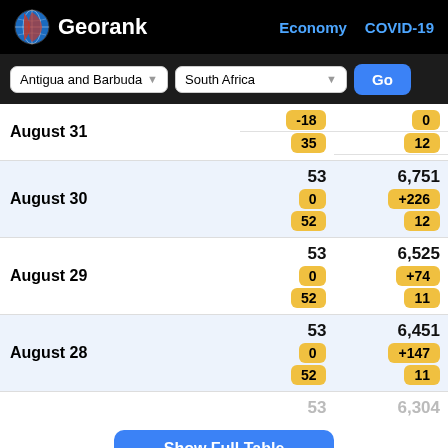Georank | Economy | COVID-19
Antigua and Barbuda | South Africa | Go
| Date | Antigua and Barbuda | South Africa |
| --- | --- | --- |
| August 31 | -18 / 35 | 0 / 12 |
| August 30 | 53 / 0 / 52 | 6,751 / +226 / 12 |
| August 29 | 53 / 0 / 52 | 6,525 / +74 / 11 |
| August 28 | 53 / 0 / 52 | 6,451 / +147 / 11 |
| (partial) | 53 | 6,304 |
Show Full Table